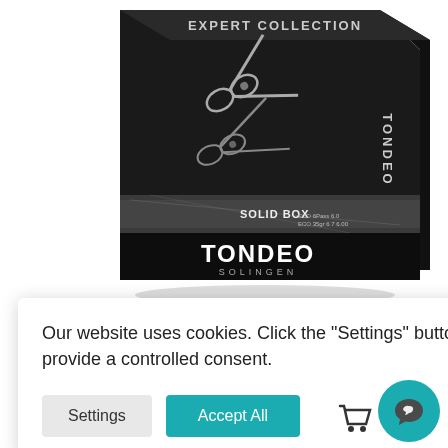[Figure (photo): Tondeo Expert Collection Solid Box product packaging — dark box with scissors and thinning shears on front, TONDEO SOLINGEN branding]
Our website uses cookies. Click the "Settings" button to provide a controlled consent.
Settings
Accept All
ox
urchase